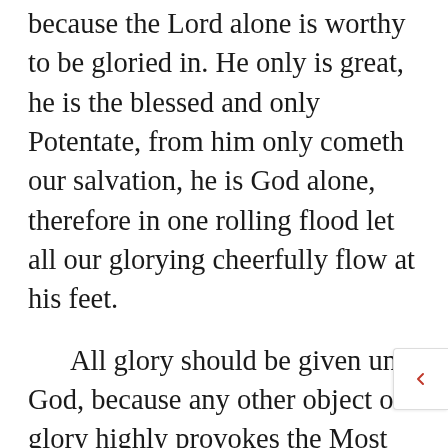because the Lord alone is worthy to be gloried in. He only is great, he is the blessed and only Potentate, from him only cometh our salvation, he is God alone, therefore in one rolling flood let all our glorying cheerfully flow at his feet.
All glory should be given unto God, because any other object of glory highly provokes the Most High. He has said, “My glory will I not give to another, nor my praise to graven images.” It is written concerning Israel, “They moved him to jealousy with their graven images. When